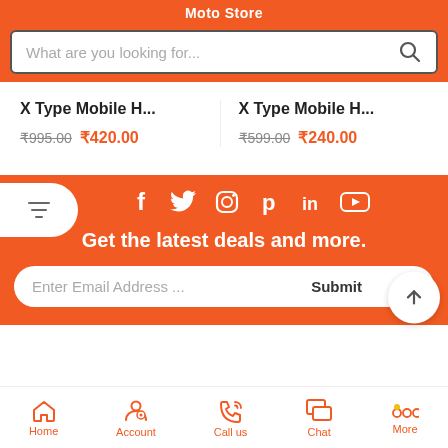Moto Store
What are you looking for...
X Type Mobile H...
₹995.00  ₹420.00
X Type Mobile H...
₹599.00  ₹240.00
[Figure (screenshot): Social media icons: Facebook, Twitter, Instagram, Pinterest, LinkedIn, YouTube on orange background]
Get the latest deals and more.
Enter Email Address ...  Submit
Home  Account  Call us  Chat  More